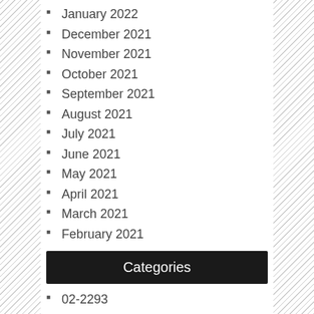January 2022
December 2021
November 2021
October 2021
September 2021
August 2021
July 2021
June 2021
May 2021
April 2021
March 2021
February 2021
Categories
02-2293
04-2090
05-0082
1-2pcs
118-
125mm5